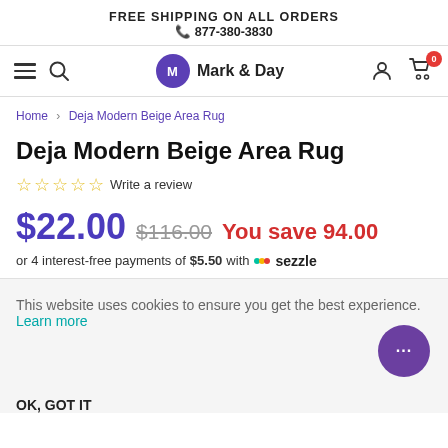FREE SHIPPING ON ALL ORDERS
☎ 877-380-3830
[Figure (logo): Mark & Day logo with navigation bar including hamburger menu, search icon, user icon, and cart icon with 0 badge]
Home > Deja Modern Beige Area Rug
Deja Modern Beige Area Rug
☆☆☆☆☆ Write a review
$22.00  $116.00  You save 94.00
or 4 interest-free payments of $5.50 with ⚡ sezzle
This website uses cookies to ensure you get the best experience. Learn more
OK, GOT IT